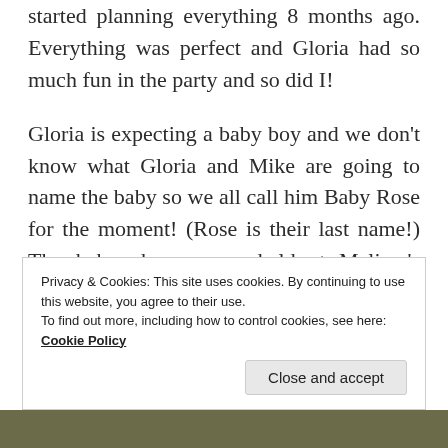started planning everything 8 months ago. Everything was perfect and Gloria had so much fun in the party and so did I!
Gloria is expecting a baby boy and we don't know what Gloria and Mike are going to name the baby so we all call him Baby Rose for the moment! (Rose is their last name!) The baby shower was held at Malissa's house and she has a
Privacy & Cookies: This site uses cookies. By continuing to use this website, you agree to their use.
To find out more, including how to control cookies, see here: Cookie Policy